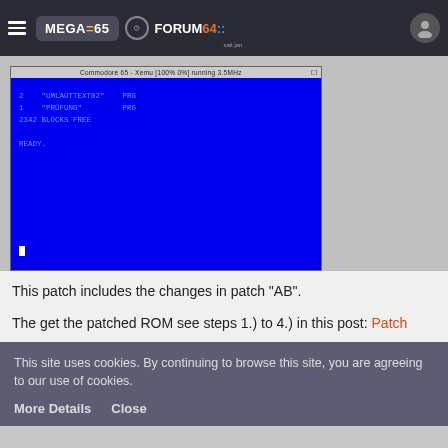MEGA65 | FORUM64 navigation bar
[Figure (screenshot): Screenshot of Commodore 65 - Xemu emulator running at 100% 0% 3.5MHz, showing a blue screen with directory listing: 2 'UMLAUTTEXT02' PRG, 1 'PRÜFUNG' PRG, 2342 BLOCKS FREE, READY. prompt and cursor]
This patch includes the changes in patch "AB".
The get the patched ROM see steps 1.) to 4.) in this post: Patch
This site uses cookies. By continuing to browse this site, you are agreeing to our use of cookies.
More Details   Close